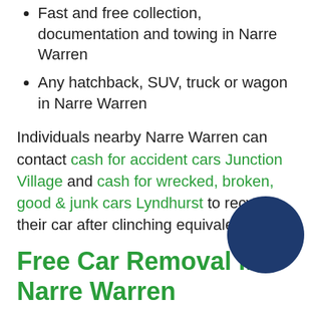Fast and free collection, documentation and towing in Narre Warren
Any hatchback, SUV, truck or wagon in Narre Warren
Individuals nearby Narre Warren can contact cash for accident cars Junction Village and cash for wrecked, broken, good & junk cars Lyndhurst to recycle their car after clinching equivalent things.
Free Car Removal in Narre Warren
Immediately upon you face stress in selling an unwanted vehicle in Narre Warren, get in touch with us about your car and sell it. We promise same day collection